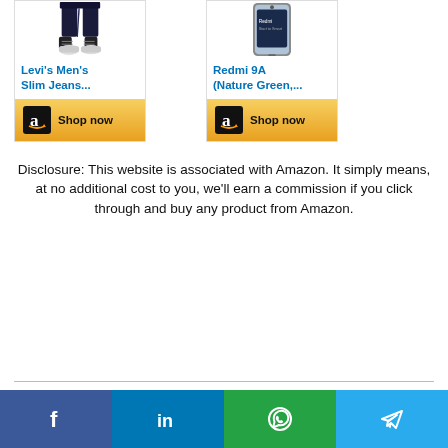[Figure (screenshot): Two Amazon product cards side by side. Left card shows Levi's Men's Slim Jeans with a Shop now button. Right card shows Redmi 9A (Nature Green,...) with a Shop now button. Both buttons have Amazon logo.]
Disclosure: This website is associated with Amazon. It simply means, at no additional cost to you, we’ll earn a commission if you click through and buy any product from Amazon.
[Figure (infographic): Social share bar at the bottom with four buttons: Facebook (blue), LinkedIn (blue), WhatsApp (green), Telegram (light blue), each with their respective icons.]